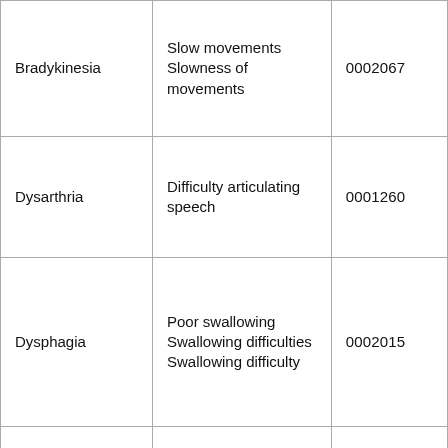| Bradykinesia | Slow movements
Slowness of movements | 0002067 |
| Dysarthria | Difficulty articulating speech | 0001260 |
| Dysphagia | Poor swallowing
Swallowing difficulties
Swallowing difficulty | 0002015 |
| Dysphonia | Inability to produce voice | 0001618 |